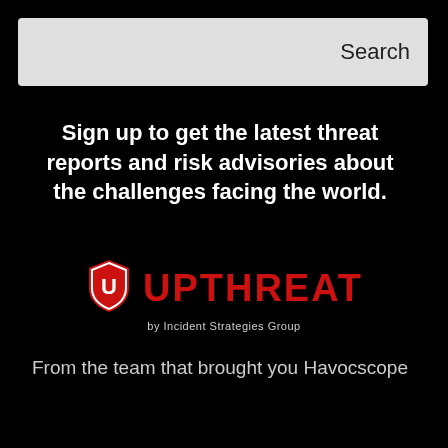Search
Sign up to get the latest threat reports and risk advisories about the challenges facing the world.
[Figure (logo): UPTHREAT logo with shield icon and text 'by Incident Strategies Group']
From the team that brought you Havocscope